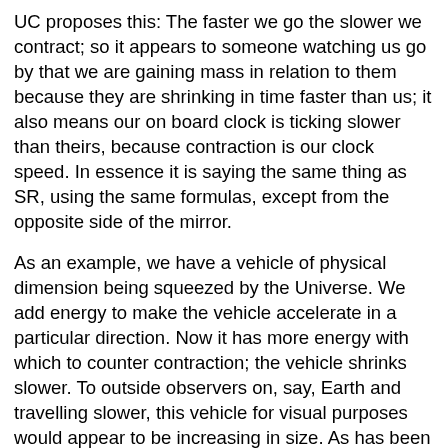UC proposes this: The faster we go the slower we contract; so it appears to someone watching us go by that we are gaining mass in relation to them because they are shrinking in time faster than us; it also means our on board clock is ticking slower than theirs, because contraction is our clock speed. In essence it is saying the same thing as SR, using the same formulas, except from the opposite side of the mirror.
As an example, we have a vehicle of physical dimension being squeezed by the Universe. We add energy to make the vehicle accelerate in a particular direction. Now it has more energy with which to counter contraction; the vehicle shrinks slower. To outside observers on, say, Earth and travelling slower, this vehicle for visual purposes would appear to be increasing in size. As has been previously documented, everything we see, sense or measure are events from the past (as the BBC reporter verified in chapter 2, Time).